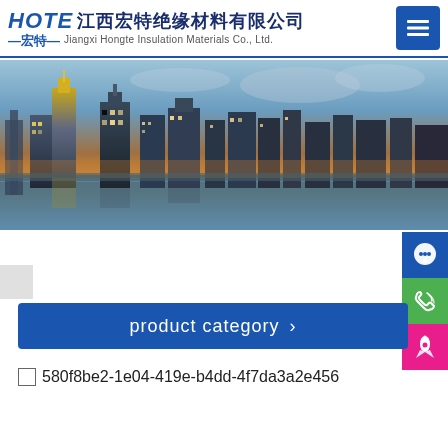HOTE 江西宏特绝缘材料有限公司 —宏特— Jiangxi Hongte Insulation Materials Co., Ltd.
[Figure (photo): Panoramic cityscape banner photo showing illuminated skyscrapers at dusk/night with a river in the foreground]
product category >
580f8be2-1e04-419e-b4dd-4f7da3a2e456